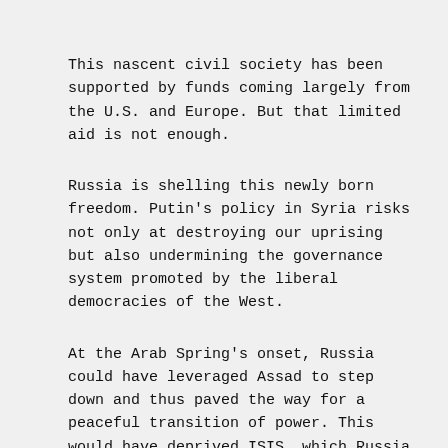This nascent civil society has been supported by funds coming largely from the U.S. and Europe. But that limited aid is not enough.
Russia is shelling this newly born freedom. Putin's policy in Syria risks not only at destroying our uprising but also undermining the governance system promoted by the liberal democracies of the West.
At the Arab Spring's onset, Russia could have leveraged Assad to step down and thus paved the way for a peaceful transition of power. This would have deprived ISIS, which Russia is ostensibly fighting, of the vacuum which enabled its ascendancy. Although Putin has